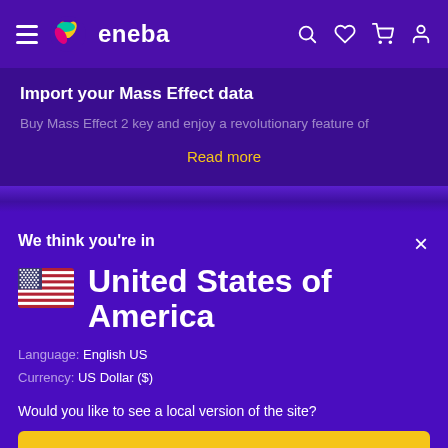eneba
Import your Mass Effect data
Buy Mass Effect 2 key and enjoy a revolutionary feature of
Read more
We think you're in
United States of America
Language: English US
Currency: US Dollar ($)
Would you like to see a local version of the site?
Yes